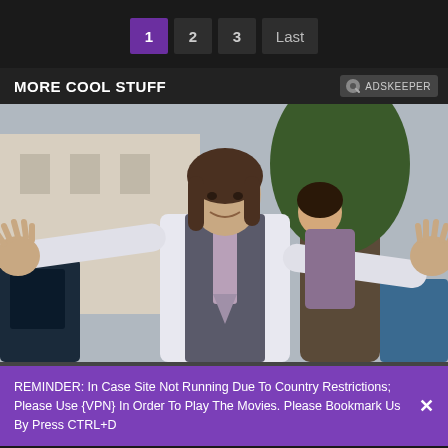1 2 3 Last
MORE COOL STUFF
[Figure (photo): Man in a grey vest and white dress shirt with a lavender tie, arms outstretched wide, standing near a car door, with a woman visible behind him and trees in the background.]
REMINDER: In Case Site Not Running Due To Country Restrictions; Please Use {VPN} In Order To Play The Movies. Please Bookmark Us By Press CTRL+D